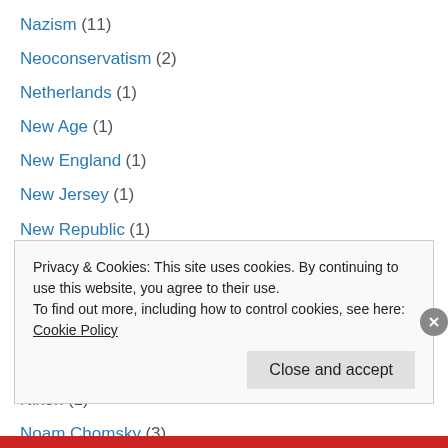Nazism (11)
Neoconservatism (2)
Netherlands (1)
New Age (1)
New England (1)
New Jersey (1)
New Republic (1)
New York (6)
New York Times (3)
Nike (1)
Nineteenth Century America (1)
Nixon (1)
Noam Chomsky (3)
Privacy & Cookies: This site uses cookies. By continuing to use this website, you agree to their use. To find out more, including how to control cookies, see here: Cookie Policy
Close and accept